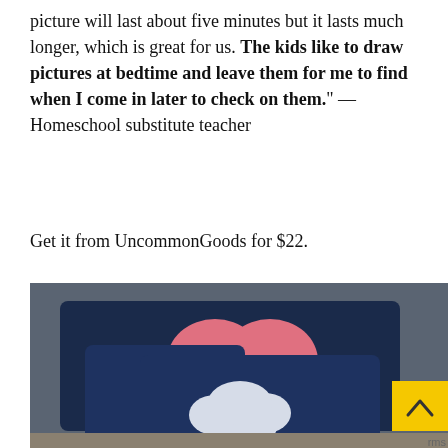picture will last about five minutes but it lasts much longer, which is great for us. The kids like to draw pictures at bedtime and leave them for me to find when I come in later to check on them." —Homeschool substitute teacher
Get it from UncommonGoods for $22.
[Figure (photo): Photo of navy blue pillows/cushions with a white cloud shape applique and pink rounded shapes on a dark gray background, with a yellow scroll-up button in the bottom right corner.]